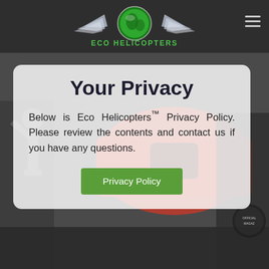ECO HELICOPTERS
Your Privacy
Below is Eco Helicopters™ Privacy Policy. Please review the contents and contact us if you have any questions.
Privacy Policy